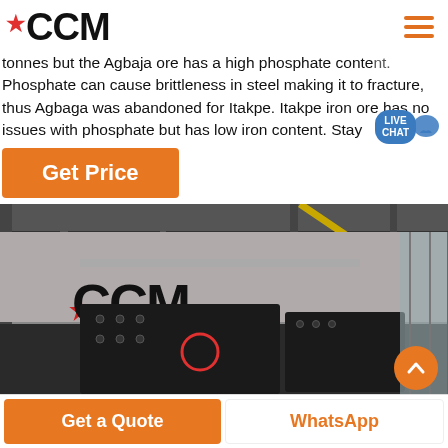CCM
tonnes but the Agbaja ore has a high phosphate content. Phosphate can cause brittleness in steel making it to fracture, thus Agbaga was abandoned for Itakpe. Itakpe iron ore has no issues with phosphate but has low iron content. Stay
Get Price
[Figure (photo): Industrial photograph of CCM machinery (large crushers/mills) inside a factory, with CCM logo on wall in background, steel structure visible]
Get a Quote
WhatsApp